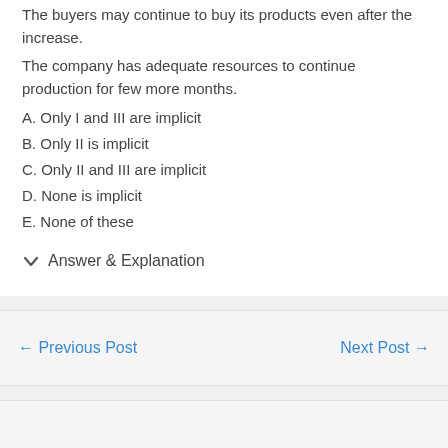The buyers may continue to buy its products even after the increase.
The company has adequate resources to continue production for few more months.
A. Only I and III are implicit
B. Only II is implicit
C. Only II and III are implicit
D. None is implicit
E. None of these
Answer & Explanation
← Previous Post    Next Post →